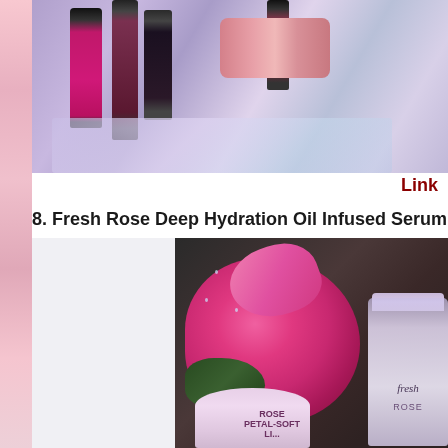[Figure (photo): Cosmetics collection including lipsticks, lip glosses, and makeup products arranged on a reflective lavender/purple surface with iridescent lighting]
Link
8. Fresh Rose Deep Hydration Oil Infused Serum  £52
[Figure (photo): Fresh Rose Deep Hydration skincare products including a serum bottle and cream jar, arranged with a pink rose flower and water droplets on a dark background. Products labeled 'fresh ROSE' and 'ROSE PETAL-SOFT'.]